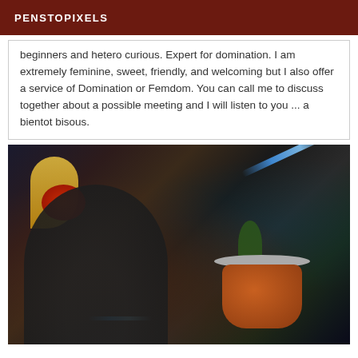PENSTOPIXELS
beginners and hetero curious. Expert for domination. I am extremely feminine, sweet, friendly, and welcoming but I also offer a service of Domination or Femdom. You can call me to discuss together about a possible meeting and I will listen to you ... a bientot bisous.
[Figure (photo): A person with blonde hair and red accessory, wearing black lace clothing, photographed outdoors near a large terracotta plant pot with foliage, with blue ambient lighting visible.]